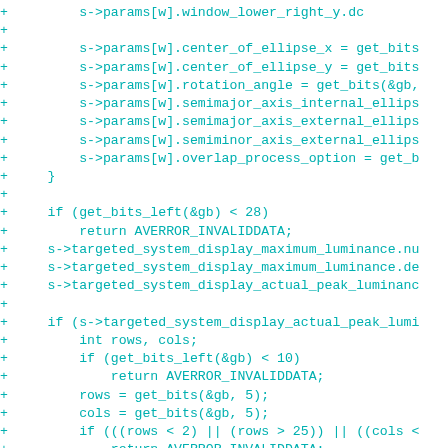[Figure (screenshot): Code diff snippet showing C code additions (lines prefixed with '+') for parsing display parameters including ellipse parameters, luminance values, and grid dimensions with bit reading functions.]